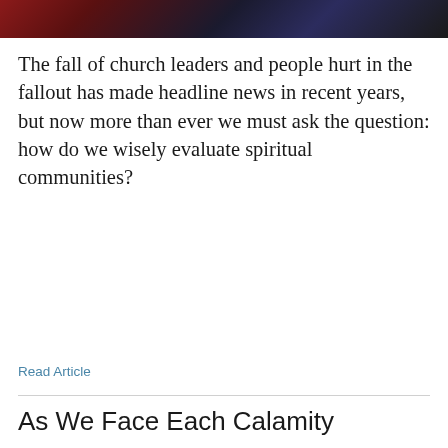[Figure (photo): Dark colored photograph at the top of the page, showing a dimly lit scene with reddish and dark tones]
The fall of church leaders and people hurt in the fallout has made headline news in recent years, but now more than ever we must ask the question: how do we wisely evaluate spiritual communities?
Read Article
As We Face Each Calamity
[Figure (photo): Stormy ocean scene with dark cloudy sky, rough waves, and a lone bench on the beach]